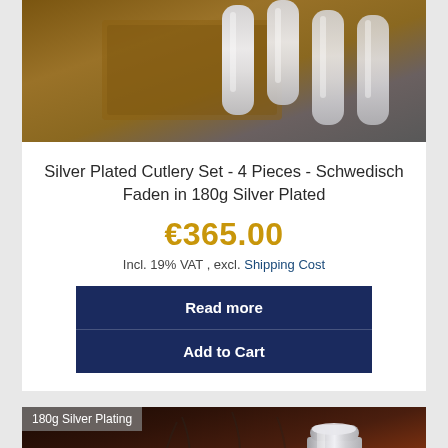[Figure (photo): Silver plated cutlery set on a brown leather background, showing utensil handles in silver finish]
Silver Plated Cutlery Set - 4 Pieces - Schwedisch Faden in 180g Silver Plated
€365.00
Incl. 19% VAT , excl. Shipping Cost
Read more
Add to Cart
[Figure (photo): Silver plated item (appears to be a small container or cup) on dark brown decorative background, with '180g Silver Plating' badge]